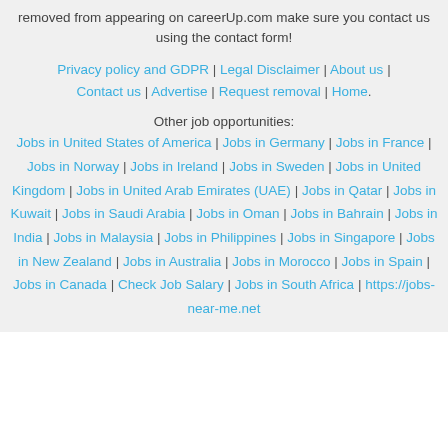removed from appearing on careerUp.com make sure you contact us using the contact form!
Privacy policy and GDPR | Legal Disclaimer | About us | Contact us | Advertise | Request removal | Home.
Other job opportunities:
Jobs in United States of America | Jobs in Germany | Jobs in France | Jobs in Norway | Jobs in Ireland | Jobs in Sweden | Jobs in United Kingdom | Jobs in United Arab Emirates (UAE) | Jobs in Qatar | Jobs in Kuwait | Jobs in Saudi Arabia | Jobs in Oman | Jobs in Bahrain | Jobs in India | Jobs in Malaysia | Jobs in Philippines | Jobs in Singapore | Jobs in New Zealand | Jobs in Australia | Jobs in Morocco | Jobs in Spain | Jobs in Canada | Check Job Salary | Jobs in South Africa | https://jobs-near-me.net